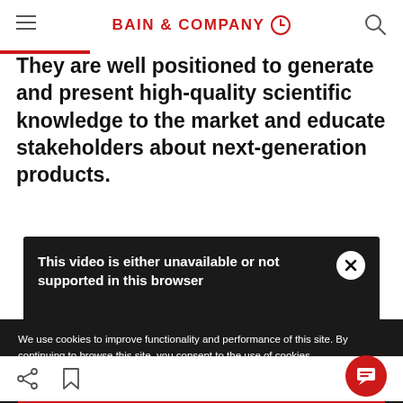BAIN & COMPANY
They are well positioned to generate and present high-quality scientific knowledge to the market and educate stakeholders about next-generation products.
[Figure (other): Video unavailable overlay with message: This video is either unavailable or not supported in this browser, with a close (X) button]
We use cookies to improve functionality and performance of this site. By continuing to browse this site, you consent to the use of cookies.
ACCEPT ALL COOKIES